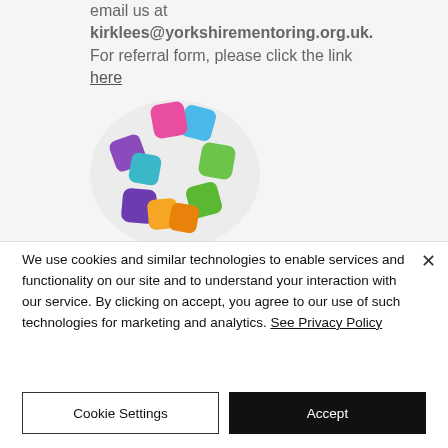email us at kirklees@yorkshirementoring.org.uk. For referral form, please click the link here
[Figure (logo): Colorful logo made of rounded square shapes in blue, pink, purple, green, orange and teal arranged in a circular cluster]
We use cookies and similar technologies to enable services and functionality on our site and to understand your interaction with our service. By clicking on accept, you agree to our use of such technologies for marketing and analytics. See Privacy Policy
Cookie Settings
Accept